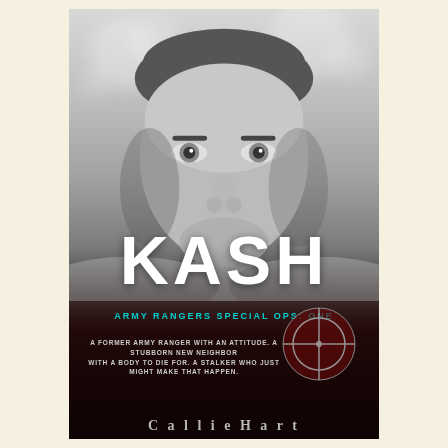[Figure (photo): Book cover for 'KASH - Army Rangers Special Ops: One'. Black and white close-up photograph of a handsome young man with short hair and stubble, shirtless, looking intensely at the camera with a bokeh background. The bottom of the cover transitions to dark red/maroon. Large white bold title 'KASH' overlaid on the lower portion. Cyan subtitle 'ARMY RANGERS SPECIAL OPS: ONE'. A crosshair/sniper scope graphic in bottom right. White tagline text reads 'A FORMER ARMY RANGER WITH AN ATTITUDE. A STUBBORN NEW NEIGHBOR WITH A BODY TO DIE FOR. A STALKER WHO JUST MIGHT MAKE THAT HAPPEN.' Author name in gray at bottom.]